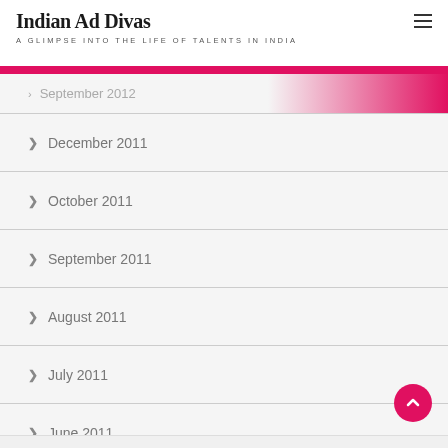Indian Ad Divas — A GLIMPSE INTO THE LIFE OF TALENTS IN INDIA
September 2012
December 2011
October 2011
September 2011
August 2011
July 2011
June 2011